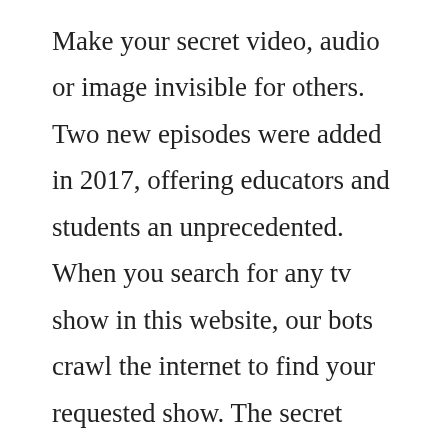Make your secret video, audio or image invisible for others. Two new episodes were added in 2017, offering educators and students an unprecedented. When you search for any tv show in this website, our bots crawl the internet to find your requested show. The secret show was first produced in 2004, but premiered in the u. This free app makes netflix better in 5 key ways bgr. Watch lego masters season 2, catch up tv watch channel 9. When sunjae gets thrown in jail for attempted assault, dami seeks hyewons help to set him free. The political claws get sharpened out in